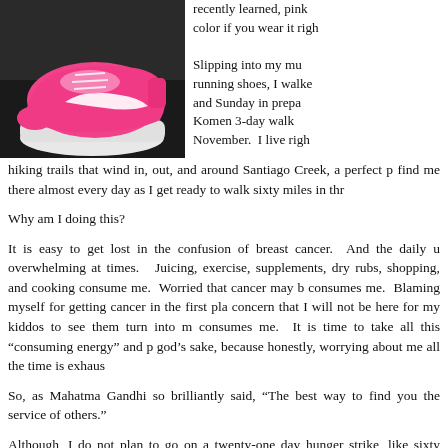[Figure (photo): A pink Nike running shoe against a dark background, shown from the side.]
recently learned, pink color if you wear it righ
Slipping into my mu running shoes, I walke and Sunday in prepa Komen 3-day walk November.  I live righ hiking trails that wind in, out, and around Santiago Creek, a perfect p find me there almost every day as I get ready to walk sixty miles in thr
Why am I doing this?
It is easy to get lost in the confusion of breast cancer.  And the daily u overwhelming at times.   Juicing, exercise, supplements, dry rubs, shopping, and cooking consume me.  Worried that cancer may b consumes me.  Blaming myself for getting cancer in the first pla concern that I will not be here for my kiddos to see them turn into m consumes me.  It is time to take all this “consuming energy” and p god’s sake, because honestly, worrying about me all the time is exhaus
So, as Mahatma Gandhi so brilliantly said, “The best way to find you the service of others.”
Although, I do not plan to go on a twenty-one day hunger strike, like sixty miles in three days and raise $2,300.  This is my way to finall